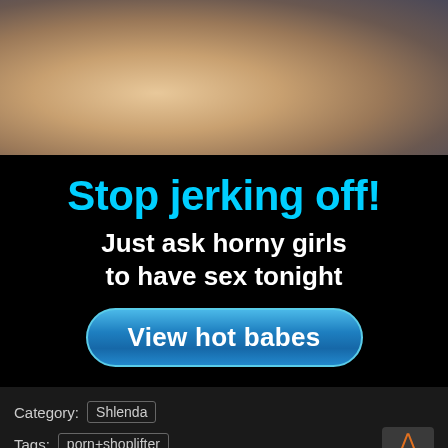[Figure (photo): Close-up photo of a blonde person, cropped, partial view of head and shoulder against dark background]
[Figure (screenshot): Advertisement banner with black background. Headline in cyan: 'Stop jerking off!' Subtext in white: 'Just ask horny girls to have sex tonight'. Blue rounded button: 'View hot babes']
Category: Shlenda
Tags: porn+shoplifter